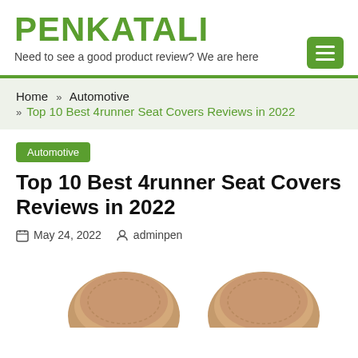PENKATALI — Need to see a good product review? We are here
Home » Automotive » Top 10 Best 4runner Seat Covers Reviews in 2022
Automotive
Top 10 Best 4runner Seat Covers Reviews in 2022
May 24, 2022   adminpen
[Figure (photo): Two tan/beige leather car seat headrests photographed from above, partially visible at bottom of page]